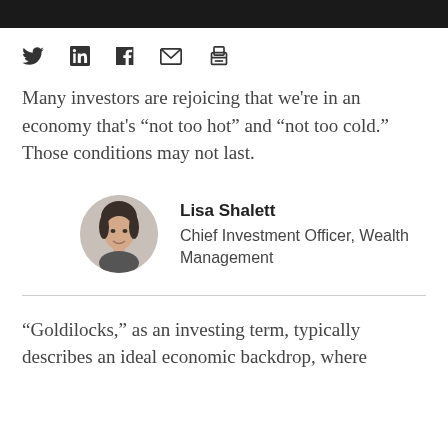[Figure (infographic): Social sharing icons: Twitter bird, LinkedIn 'in', Facebook 'f', email envelope, and print printer icon]
Many investors are rejoicing that we're in an economy that's “not too hot” and “not too cold.” Those conditions may not last.
[Figure (photo): Circular headshot photo of Lisa Shalett]
Lisa Shalett
Chief Investment Officer, Wealth Management
“Goldilocks,” as an investing term, typically describes an ideal economic backdrop, where